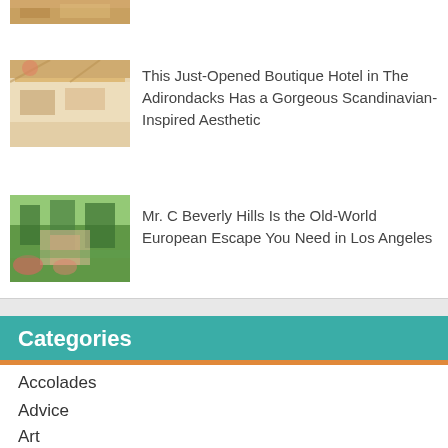[Figure (photo): Partial thumbnail of a hotel/accommodation interior at the very top of the page (cropped)]
This Just-Opened Boutique Hotel in The Adirondacks Has a Gorgeous Scandinavian-Inspired Aesthetic
[Figure (photo): Hotel room interior with warm wooden beams and bright natural light]
Mr. C Beverly Hills Is the Old-World European Escape You Need in Los Angeles
[Figure (photo): Lush green outdoor garden/terrace of Mr. C Beverly Hills hotel]
Categories
Accolades
Advice
Art